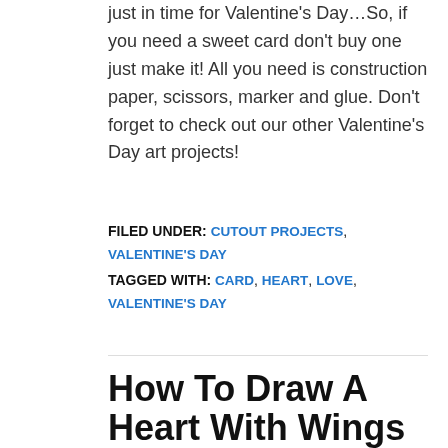just in time for Valentine's Day…So, if you need a sweet card don't buy one just make it! All you need is construction paper, scissors, marker and glue. Don't forget to check out our other Valentine's Day art projects!
FILED UNDER: CUTOUT PROJECTS, VALENTINE'S DAY
TAGGED WITH: CARD, HEART, LOVE, VALENTINE'S DAY
How To Draw A Heart With Wings